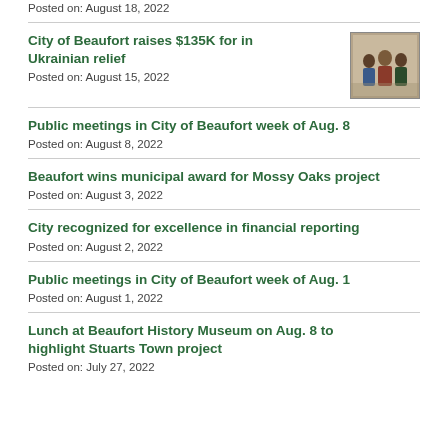Posted on: August 18, 2022
City of Beaufort raises $135K for in Ukrainian relief
Posted on: August 15, 2022
[Figure (photo): Photo of people standing together indoors]
Public meetings in City of Beaufort week of Aug. 8
Posted on: August 8, 2022
Beaufort wins municipal award for Mossy Oaks project
Posted on: August 3, 2022
City recognized for excellence in financial reporting
Posted on: August 2, 2022
Public meetings in City of Beaufort week of Aug. 1
Posted on: August 1, 2022
Lunch at Beaufort History Museum on Aug. 8 to highlight Stuarts Town project
Posted on: July 27, 2022